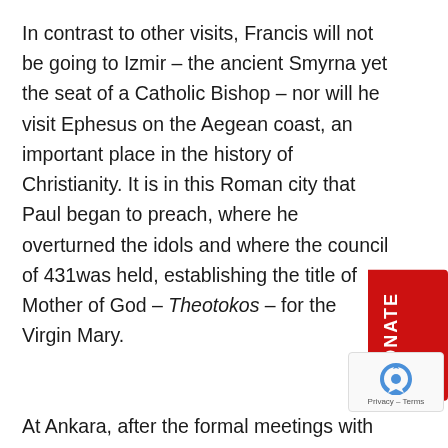In contrast to other visits, Francis will not be going to Izmir – the ancient Smyrna yet the seat of a Catholic Bishop – nor will he visit Ephesus on the Aegean coast, an important place in the history of Christianity. It is in this Roman city that Paul began to preach, where he overturned the idols and where the council of 431 was held, establishing the title of Mother of God – Theotokos – for the Virgin Mary.

At Ankara, after the formal meetings with President Tayyip Erdogan and the Minister of Religious Affairs, the Pope will go to bow before the monumental to of Ataturk, the founder of the Republic, as a gestu friendship. The next day in Istanbul, Francis will go to
[Figure (other): Red DONATE button on the right side of the page, vertically oriented text reading DONATE in white on a red background]
[Figure (other): reCAPTCHA widget overlay in the bottom right corner showing the reCAPTCHA logo and Privacy - Terms text]